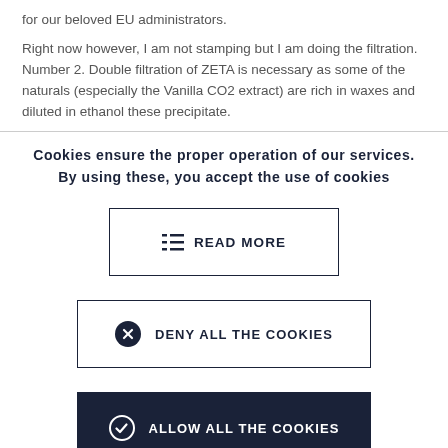for our beloved EU administrators.
Right now however, I am not stamping but I am doing the filtration. Number 2. Double filtration of ZETA is necessary as some of the naturals (especially the Vanilla CO2 extract) are rich in waxes and diluted in ethanol these precipitate.
Cookies ensure the proper operation of our services. By using these, you accept the use of cookies
[Figure (other): READ MORE button with list icon, outlined border]
[Figure (other): DENY ALL THE COOKIES button with X circle icon, outlined border]
[Figure (other): ALLOW ALL THE COOKIES button with checkmark circle icon, dark navy background]